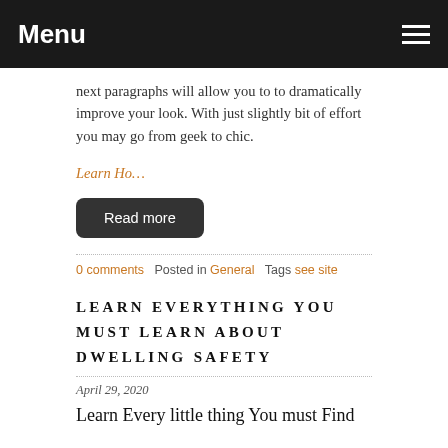Menu
next paragraphs will allow you to to dramatically improve your look. With just slightly bit of effort you may go from geek to chic.
Learn Ho…
Read more
0 comments   Posted in General   Tags see site
LEARN EVERYTHING YOU MUST LEARN ABOUT DWELLING SAFETY
April 29, 2020
Learn Every little thing You must Find